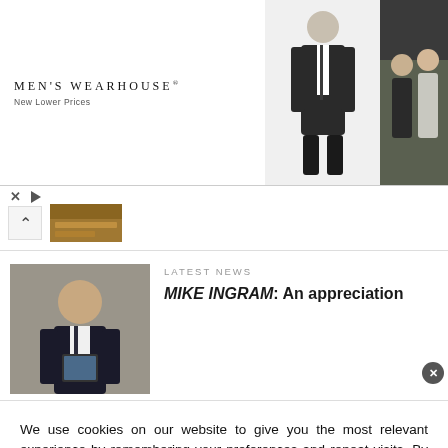[Figure (photo): Men's Wearhouse advertisement with logo text 'MEN'S WEARHOUSE New Lower Prices', a man in dark suit (center), and a couple in formal wedding attire (right)]
[Figure (photo): Thumbnail image of a stone/brick background]
[Figure (photo): News article thumbnail photo of a man in a dark suit holding something, standing in front of a stone wall]
LATEST NEWS
MIKE INGRAM: An appreciation
We use cookies on our website to give you the most relevant experience by remembering your preferences and repeat visits. By clicking “Accept”, you consent to the use of ALL the cookies.
Do not sell my personal information.
Cookie settings
ACCEPT